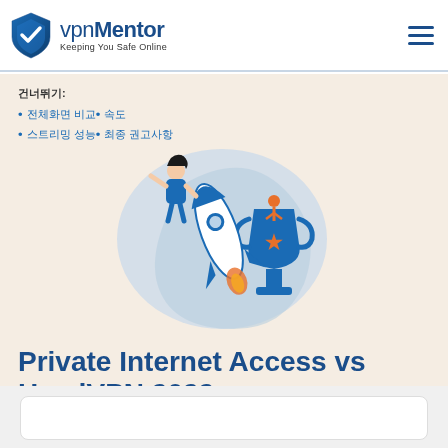vpnMentor — Keeping You Safe Online
건너뛰기:
전체화면 비교
속도
스트리밍 성능
최종 권고사항
[Figure (illustration): Illustration of a woman riding a rocket next to a trophy cup on a light blue blob background]
Private Internet Access vs HeadVPN 2022